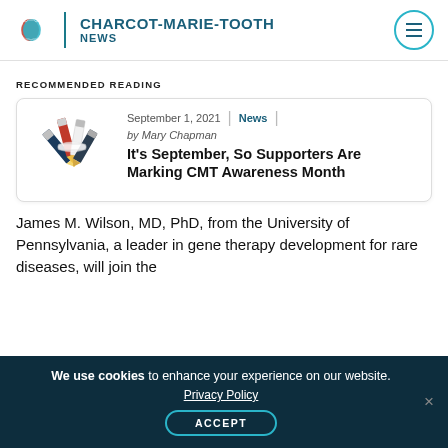CHARCOT-MARIE-TOOTH NEWS
RECOMMENDED READING
[Figure (illustration): Illustration of several pencils bundled together with red, white, and blue striped bands]
September 1, 2021 | News | by Mary Chapman
It's September, So Supporters Are Marking CMT Awareness Month
James M. Wilson, MD, PhD, from the University of Pennsylvania, a leader in gene therapy development for rare diseases, will join the
We use cookies to enhance your experience on our website. Privacy Policy ACCEPT